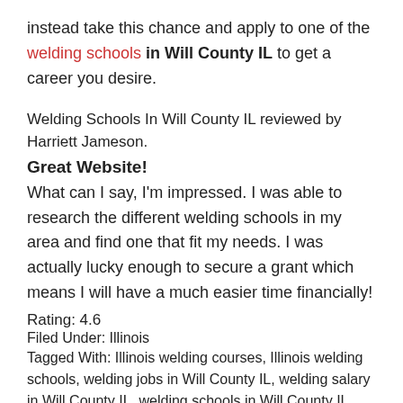instead take this chance and apply to one of the welding schools in Will County IL to get a career you desire.
Welding Schools In Will County IL reviewed by Harriett Jameson.
Great Website!
What can I say, I'm impressed. I was able to research the different welding schools in my area and find one that fit my needs. I was actually lucky enough to secure a grant which means I will have a much easier time financially!
Rating: 4.6
Filed Under: Illinois
Tagged With: Illinois welding courses, Illinois welding schools, welding jobs in Will County IL, welding salary in Will County IL, welding schools in Will County IL, welding training in Will County IL, Will County IL certified welder